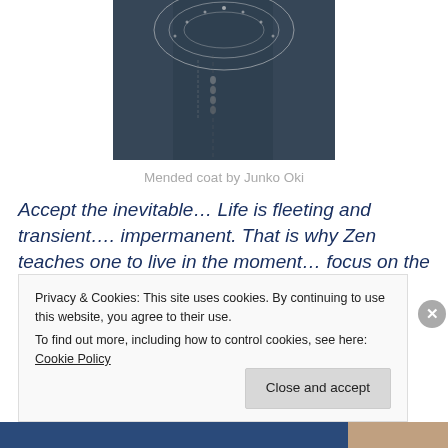[Figure (photo): Close-up photo of a mended coat with intricate white lace/crochet work overlaid on dark denim fabric by Junko Oki]
Mended coat by Junko Oki
Accept the inevitable… Life is fleeting and transient…. impermanent. That is why Zen teaches one to live in the moment… focus on the intrinsic small details… and get rid of the unnecessary.
Privacy & Cookies: This site uses cookies. By continuing to use this website, you agree to their use.
To find out more, including how to control cookies, see here: Cookie Policy